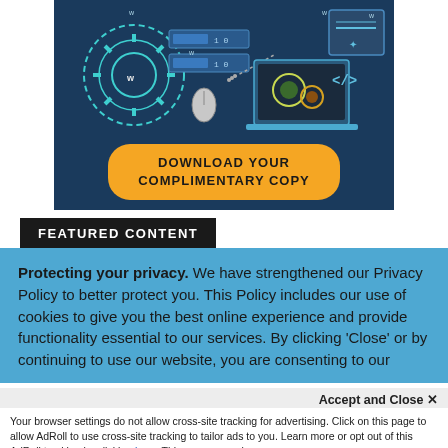[Figure (illustration): Dark blue banner with tech/gear illustrations and a yellow rounded-rectangle button reading 'DOWNLOAD YOUR COMPLIMENTARY COPY']
FEATURED CONTENT
Protecting your privacy. We have strengthened our Privacy Policy to better protect you. This Policy includes our use of cookies to give you the best online experience and provide functionality essential to our services. By clicking 'Close' or by continuing to use our website, you are consenting to our
Accept and Close ✕
Your browser settings do not allow cross-site tracking for advertising. Click on this page to allow AdRoll to use cross-site tracking to tailor ads to you. Learn more or opt out of this AdRoll tracking by clicking here. This message only appears once.